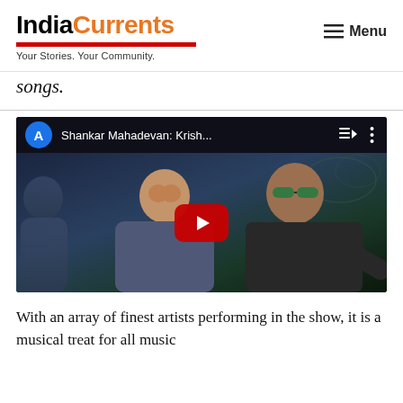IndiaCurrents — Your Stories. Your Community. | Menu
songs.
[Figure (screenshot): YouTube video player embed showing Shankar Mahadevan: Krish... with a blue avatar icon labeled A, playlist and dots icons, and a red play button over a dark background with two performers]
With an array of finest artists performing in the show, it is a musical treat for all music